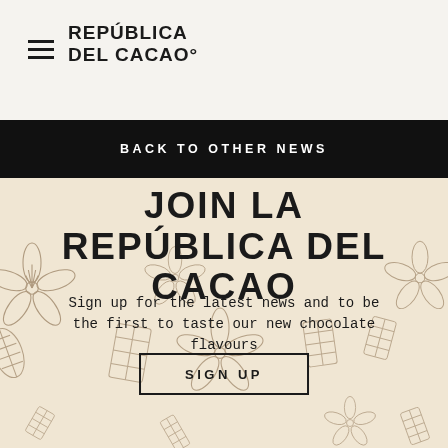REPÚBLICA DEL CACAO°
BACK TO OTHER NEWS
JOIN LA REPÚBLICA DEL CACAO
Sign up for the latest news and to be the first to taste our new chocolate flavours
SIGN UP
[Figure (illustration): Decorative background with line-art illustrations of cacao pods, cacao flowers, and chocolate bars in a beige/cream color scheme]